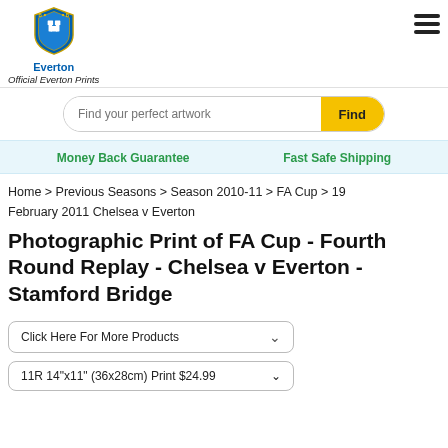[Figure (logo): Everton FC official logo with blue shield and text 'Everton' below]
Official Everton Prints
[Figure (other): Hamburger menu icon (three horizontal lines)]
[Figure (other): Search bar with placeholder 'Find your perfect artwork' and yellow 'Find' button]
Money Back Guarantee
Fast Safe Shipping
Home > Previous Seasons > Season 2010-11 > FA Cup > 19 February 2011 Chelsea v Everton
Photographic Print of FA Cup - Fourth Round Replay - Chelsea v Everton - Stamford Bridge
Click Here For More Products
11R 14"x11" (36x28cm) Print $24.99